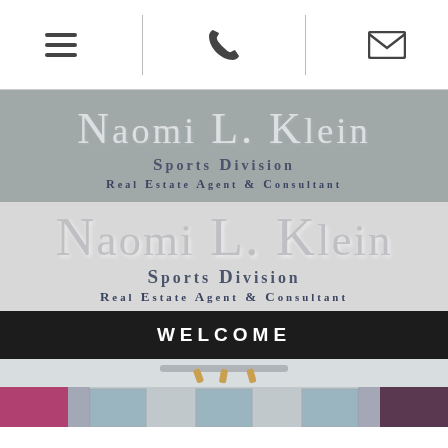[navigation bar with menu, phone, and email icons]
Naomi L. Klein
Sports Division
Real Estate Agent & Consultant
Naomi L. Klein
Sports Division
Real Estate Agent & Consultant
WELCOME
[Figure (photo): Interior room photo showing white walls, track lighting on ceiling, windows with curtains, and artwork panels on the sides]